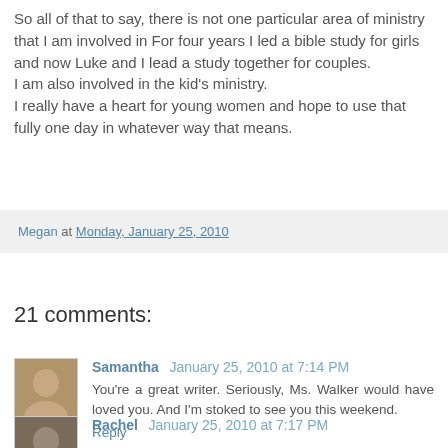So all of that to say, there is not one particular area of ministry that I am involved in For four years I led a bible study for girls and now Luke and I lead a study together for couples.
I am also involved in the kid's ministry.
I really have a heart for young women and hope to use that fully one day in whatever way that means.
Megan at Monday, January 25, 2010
21 comments:
Samantha January 25, 2010 at 7:14 PM
You're a great writer. Seriously, Ms. Walker would have loved you. And I'm stoked to see you this weekend.
Reply
Rachel January 25, 2010 at 7:17 PM